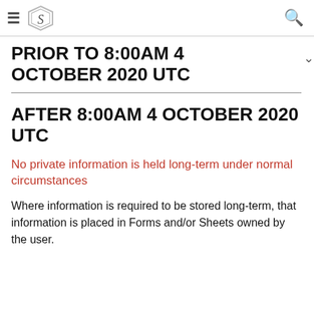S [logo] [search]
PRIOR TO 8:00AM 4 OCTOBER 2020 UTC
AFTER 8:00AM 4 OCTOBER 2020 UTC
No private information is held long-term under normal circumstances
Where information is required to be stored long-term, that information is placed in Forms and/or Sheets owned by the user.